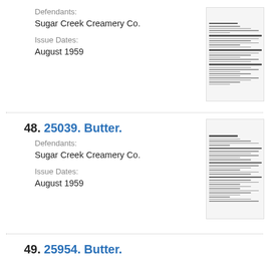Defendants:
Sugar Creek Creamery Co.
Issue Dates:
August 1959
48. 25039. Butter.
Defendants:
Sugar Creek Creamery Co.
Issue Dates:
August 1959
49. 25954. Butter.